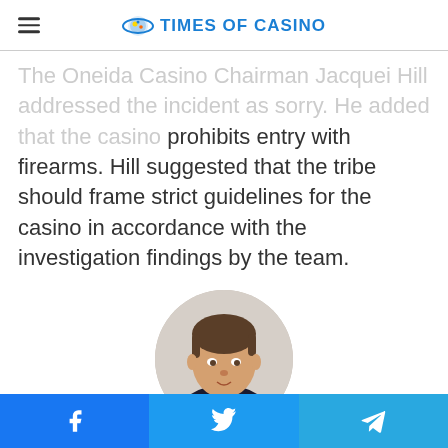TIMES OF CASINO
The Oneida Casino Chairman Jacquei Hill addressed the incident as sorry. He added that the casino prohibits entry with firearms. Hill suggested that the tribe should frame strict guidelines for the casino in accordance with the investigation findings by the team.
[Figure (photo): Circular portrait photo of John Scott, a young man with short brown hair wearing a dark top, against a light background.]
John Scott
John Scott joined the Times of Casino's team as a news writer. He previously worked with foremost publications as an inte...